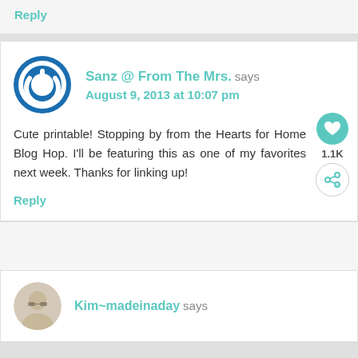Reply
Sanz @ From The Mrs. says
August 9, 2013 at 10:07 pm
Cute printable! Stopping by from the Hearts for Home Blog Hop. I'll be featuring this as one of my favorites next week. Thanks for linking up!
Reply
Kim~madeinaday says